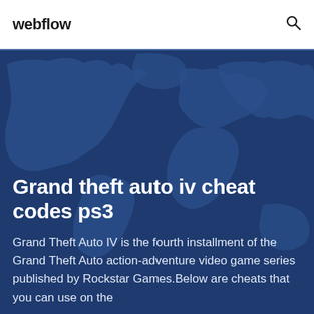webflow
[Figure (illustration): Dark blue world map silhouette background with teal-blue gradient tones, decorative background for the hero section]
Grand theft auto iv cheat codes ps3
Grand Theft Auto IV is the fourth installment of the Grand Theft Auto action-adventure video game series published by Rockstar Games.Below are cheats that you can use on the